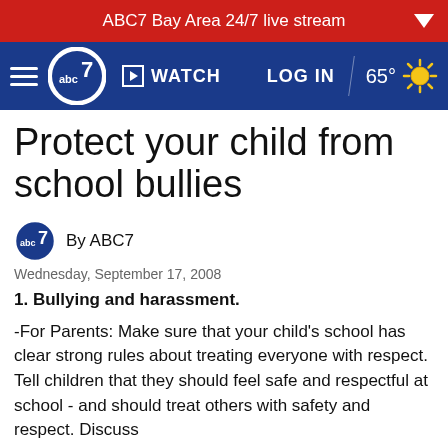ABC7 Bay Area 24/7 live stream
[Figure (screenshot): ABC7 news navigation bar with hamburger menu, ABC7 logo, WATCH button, LOG IN, 65° weather]
Protect your child from school bullies
By ABC7
Wednesday, September 17, 2008
1. Bullying and harassment.
-For Parents: Make sure that your child's school has clear strong rules about treating everyone with respect. Tell children that they should feel safe and respectful at school - and should treat others with safety and respect. Discuss